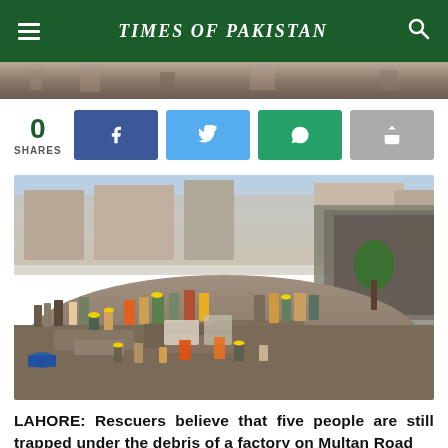TIMES OF PAKISTAN
0
SHARES
[Figure (photo): Partial view of rescue workers at rubble site — top strip image]
[Figure (photo): Rescue workers and crowds searching through debris of a collapsed factory building on Multan Road, Lahore. Large crowd of people in yellow hard hats and vests working through a mound of rubble with broken walls and buildings surrounding the site.]
LAHORE: Rescuers believe that five people are still trapped under the debris of a factory on Multan Road